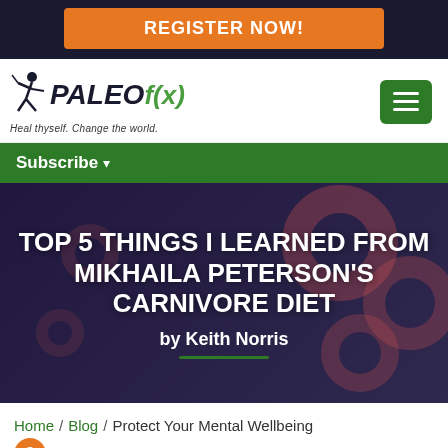REGISTER NOW!
[Figure (logo): Paleo f(x) logo with tagline 'Heal thyself. Change the world.' and hamburger menu icon]
Subscribe ▾
TOP 5 THINGS I LEARNED FROM MIKHAILA PETERSON'S CARNIVORE DIET
by Keith Norris
Home / Blog / Protect Your Mental Wellbeing During the COVID-19 Pandemic